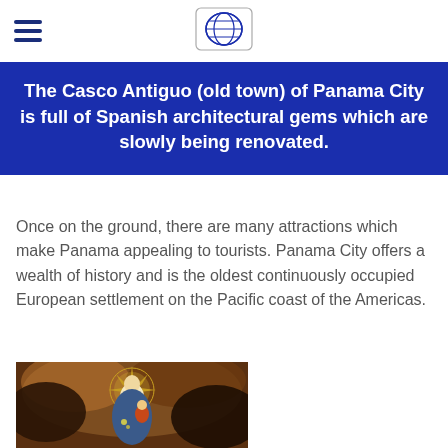The Casco Antiguo (old town) of Panama City is full of Spanish architectural gems which are slowly being renovated.
Once on the ground, there are many attractions which make Panama appealing to tourists. Panama City offers a wealth of history and is the oldest continuously occupied European settlement on the Pacific coast of the Americas.
[Figure (illustration): Religious painting depicting the Virgin Mary holding the Christ child, with a golden sunburst halo and dark dramatic background with clouds.]